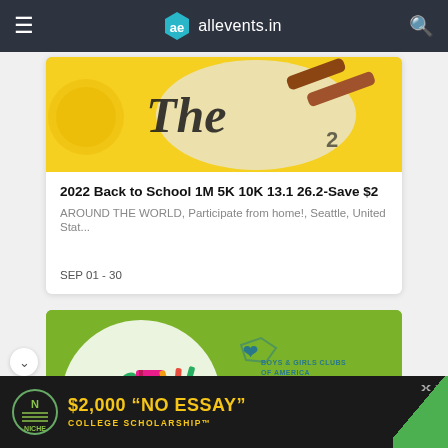allevents.in
[Figure (screenshot): Partial event banner image showing decorative back-to-school themed graphic with yellow glitter and text 'The' in stylized font, brown decorative element]
2022 Back to School 1M 5K 10K 13.1 26.2-Save $2
AROUND THE WORLD, Participate from home!, Seattle, United Stat...
SEP 01 - 30
[Figure (photo): Boys & Girls Clubs of America promotional image on green background showing school supplies including notebook, pencils, apple, scissors, and ruler. Logo and text 'BOYS & GIRLS CLUBS OF AMERICA' visible.]
[Figure (screenshot): Advertisement bar: Niche logo with '$2,000 "NO ESSAY" COLLEGE SCHOLARSHIP™' text on dark background with green accent]